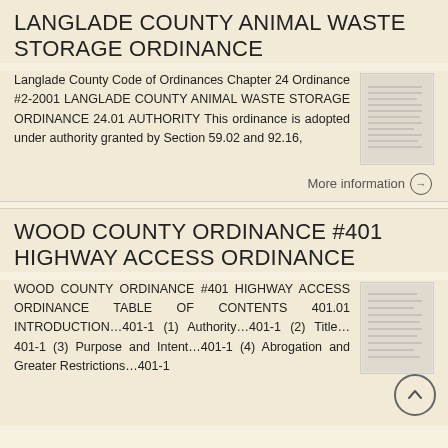LANGLADE COUNTY ANIMAL WASTE STORAGE ORDINANCE
Langlade County Code of Ordinances Chapter 24 Ordinance #2-2001 LANGLADE COUNTY ANIMAL WASTE STORAGE ORDINANCE 24.01 AUTHORITY This ordinance is adopted under authority granted by Section 59.02 and 92.16,
More information →
WOOD COUNTY ORDINANCE #401 HIGHWAY ACCESS ORDINANCE
WOOD COUNTY ORDINANCE #401 HIGHWAY ACCESS ORDINANCE TABLE OF CONTENTS 401.01 INTRODUCTION…401-1 (1) Authority…401-1 (2) Title…401-1 (3) Purpose and Intent…401-1 (4) Abrogation and Greater Restrictions…401-1